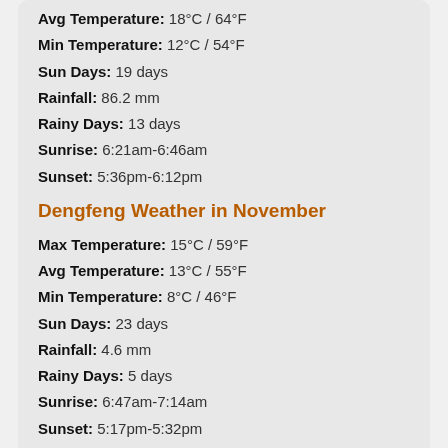Avg Temperature: 18°C / 64°F
Min Temperature: 12°C / 54°F
Sun Days: 19 days
Rainfall: 86.2 mm
Rainy Days: 13 days
Sunrise: 6:21am-6:46am
Sunset: 5:36pm-6:12pm
Dengfeng Weather in November
Max Temperature: 15°C / 59°F
Avg Temperature: 13°C / 55°F
Min Temperature: 8°C / 46°F
Sun Days: 23 days
Rainfall: 4.6 mm
Rainy Days: 5 days
Sunrise: 6:47am-7:14am
Sunset: 5:17pm-5:32pm
Dengfeng Weather in Winter (Dec, Jan, Feb)
☃ Average Temperature: 3°C~8°C, cold and dry
It is cold in winter, especially in the mountain area of